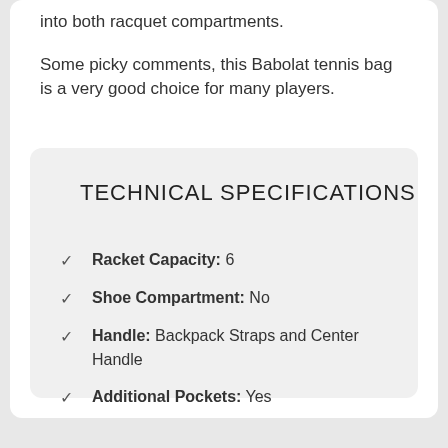into both racquet compartments.
Some picky comments, this Babolat tennis bag is a very good choice for many players.
TECHNICAL SPECIFICATIONS
Racket Capacity: 6
Shoe Compartment: No
Handle: Backpack Straps and Center Handle
Additional Pockets: Yes